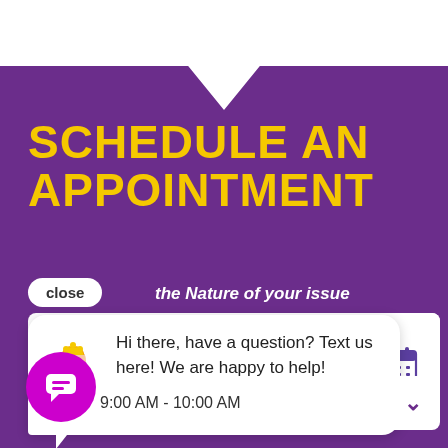[Figure (screenshot): Purple background with white top notch/arrow shape pointing down, scheduling appointment UI screenshot]
SCHEDULE AN APPOINTMENT
close
the Nature of your issue
Hi there, have a question? Text us here! We are happy to help!
t Time
9:00 AM - 10:00 AM